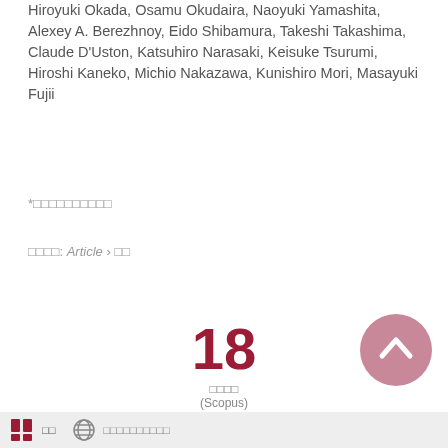Hiroyuki Okada, Osamu Okudaira, Naoyuki Yamashita, Alexey A. Berezhnoy, Eido Shibamura, Takeshi Takashima, Claude D'Uston, Katsuhiro Narasaki, Keisuke Tsurumi, Hiroshi Kaneko, Michio Nakazawa, Kunishiro Mori, Masayuki Fujii
*□□□□□□□□□□
□□□□: Article › □□
18
□□□□
(Scopus)
[Figure (other): Scroll to top button - pink circular button with upward chevron arrow]
□□  □□□□□□□□□□